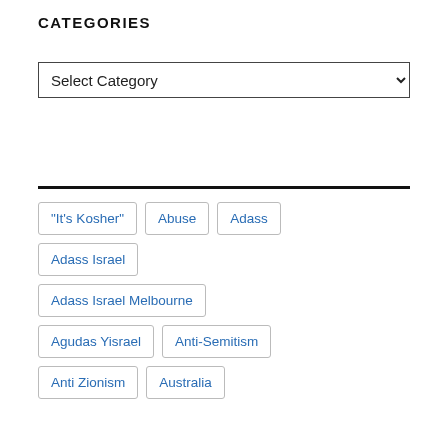CATEGORIES
[Figure (other): Select Category dropdown menu]
"It's Kosher"
Abuse
Adass
Adass Israel
Adass Israel Melbourne
Agudas Yisrael
Anti-Semitism
Anti Zionism
Australia